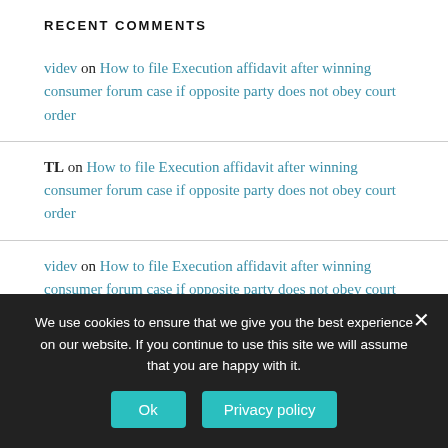RECENT COMMENTS
videv on How to file Execution affidavit after winning consumer forum case if opposite party does not obey court order
TL on How to file Execution affidavit after winning consumer forum case if opposite party does not obey court order
videv on How to file Execution affidavit after winning consumer forum case if opposite party does not obey court order
Ajay D on How to file Execution affidavit after winning…
We use cookies to ensure that we give you the best experience on our website. If you continue to use this site we will assume that you are happy with it.
Ok | Privacy policy